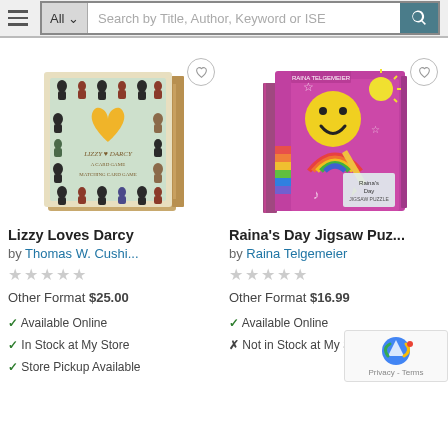All | Search by Title, Author, Keyword or ISE
[Figure (photo): Lizzy Loves Darcy board game box with heart design and silhouette pieces]
[Figure (photo): Raina's Day Jigsaw Puzzle colorful pink box with rainbow and smiley face]
Lizzy Loves Darcy
by Thomas W. Cushi...
Other Format $25.00
Available Online
In Stock at My Store
Store Pickup Available
Raina's Day Jigsaw Puz...
by Raina Telgemeier
Other Format $16.99
Available Online
Not in Stock at My Sto